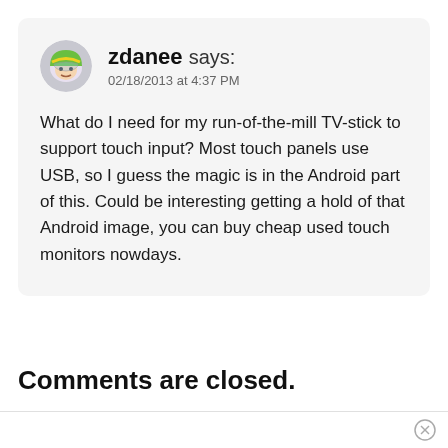zdanee says:
02/18/2013 at 4:37 PM
What do I need for my run-of-the-mill TV-stick to support touch input? Most touch panels use USB, so I guess the magic is in the Android part of this. Could be interesting getting a hold of that Android image, you can buy cheap used touch monitors nowdays.
Comments are closed.